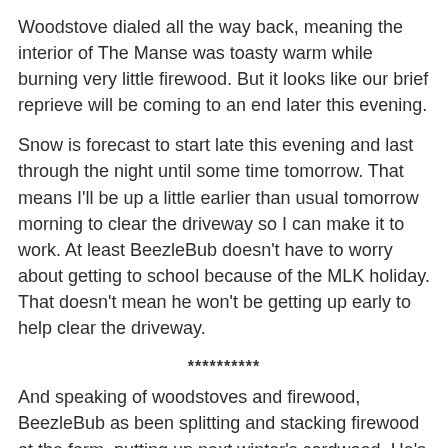Woodstove dialed all the way back, meaning the interior of The Manse was toasty warm while burning very little firewood. But it looks like our brief reprieve will be coming to an end later this evening.
Snow is forecast to start late this evening and last through the night until some time tomorrow. That means I'll be up a little earlier than usual tomorrow morning to clear the driveway so I can make it to work. At least BeezleBub doesn't have to worry about getting to school because of the MLK holiday. That doesn't mean he won't be getting up early to help clear the driveway.
**********
And speaking of woodstoves and firewood, BeezleBub as been splitting and stacking firewood at the farm, putting up next winter's cordwood. He's managed to go through a few cords so far, with only a hundred or two left to go.
**********
More guns in the hands of law abiding citizens lead to lower crime rates. Some people have been acting as if this is some kind of joke or an anomaly in the crime statistics. But for those of us living in states with lax gun laws (meaning